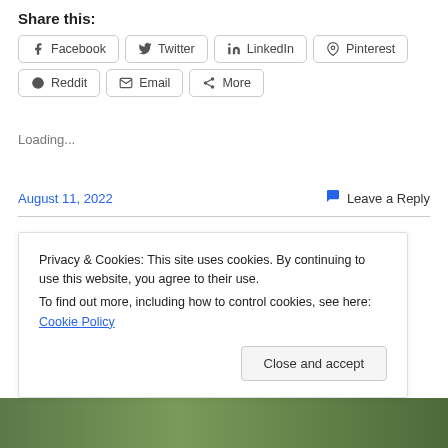Share this:
Facebook | Twitter | LinkedIn | Pinterest
Reddit | Email | More
Loading...
August 11, 2022   Leave a Reply
Success Quote on Happiness
Privacy & Cookies: This site uses cookies. By continuing to use this website, you agree to their use.
To find out more, including how to control cookies, see here: Cookie Policy
Close and accept